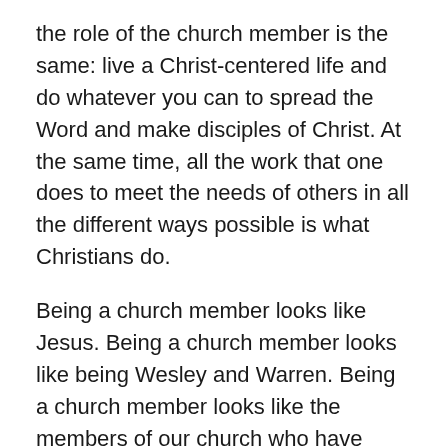the role of the church member is the same: live a Christ-centered life and do whatever you can to spread the Word and make disciples of Christ. At the same time, all the work that one does to meet the needs of others in all the different ways possible is what Christians do.
Being a church member looks like Jesus. Being a church member looks like being Wesley and Warren. Being a church member looks like the members of our church who have served one another in our own community with love and grace in so many different ways. We recognize them and we try to model their examples in our own lives.
Being a church member and working side by side with others who believe in God and serve as God's emissaries in our own communities makes a difference in our own faith journeys as well as in the lives of those around us. As